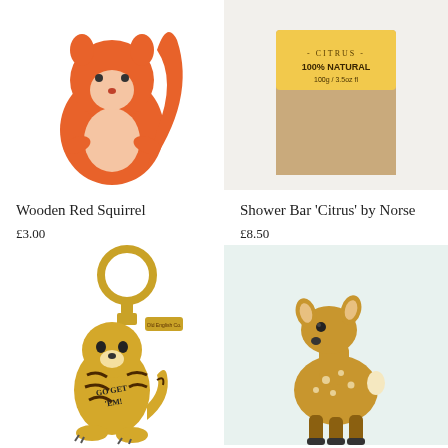[Figure (photo): Wooden red squirrel toy figure, orange and peach colored]
[Figure (photo): Shower Bar Citrus by Norse product in kraft paper packaging with yellow label]
Wooden Red Squirrel
£3.00
Shower Bar 'Citrus' by Norse
£8.50
[Figure (photo): Tiger enamel keyring with 'Go Get Em' text and Old English Co. tag, gold colored]
[Figure (photo): Wooden deer/fawn toy figure, yellow-tan colored with white spots]